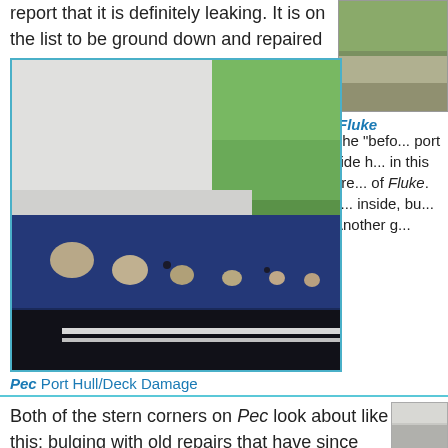report that it is definitely leaking. It is on the list to be ground down and repaired again.
[Figure (photo): Partial cropped photo on top right, appears to show a boat or deck surface]
Fluke
The "before" photo of the port side hull/deck area in this area of Fluke. The inside, bu... Another g...
[Figure (photo): Photo of Pec port hull showing blue hull with white deck edge and damage spots/patches along the hull-deck junction]
Pec Port Hull/Deck Damage
Both of the stern corners on Pec look about like this: bulging with old repairs that have since been battered and cracked.
[Figure (photo): Partial photo on bottom right showing boat stern corner]